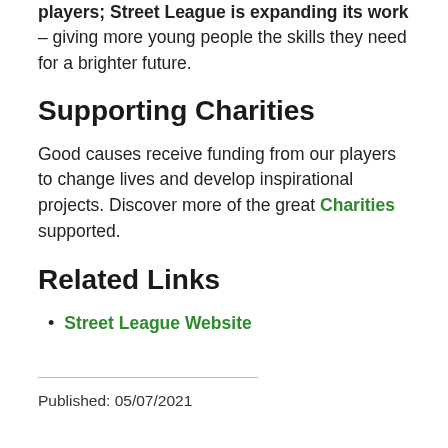players; Street League is expanding its work - giving more young people the skills they need for a brighter future.
Supporting Charities
Good causes receive funding from our players to change lives and develop inspirational projects. Discover more of the great Charities supported.
Related Links
Street League Website
Published: 05/07/2021